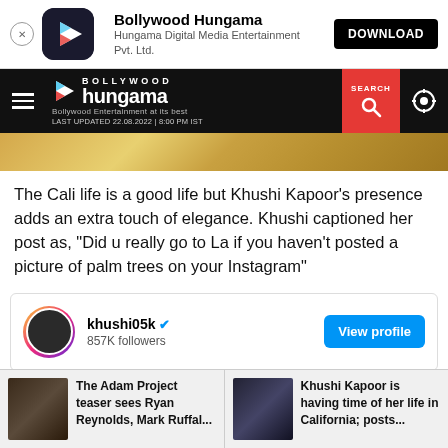[Figure (screenshot): App download banner for Bollywood Hungama app with close button, app icon, app name, publisher name, and DOWNLOAD button]
[Figure (screenshot): Bollywood Hungama website navigation bar with hamburger menu, logo, search button, and settings gear icon. Shows 'LAST UPDATED 22.08.2022 | 8:00 PM IST']
[Figure (photo): Partial hero image showing sandy/golden background with a person]
The Cali life is a good life but Khushi Kapoor's presence adds an extra touch of elegance. Khushi captioned her post as, “Did u really go to La if you haven't posted a picture of palm trees on your Instagram”
[Figure (screenshot): Instagram profile widget showing khushi05k with verified badge, 857K followers, and View profile button]
[Figure (screenshot): Bottom related articles strip showing two cards: 'The Adam Project teaser sees Ryan Reynolds, Mark Ruffal...' and 'Khushi Kapoor is having time of her life in California; posts...']